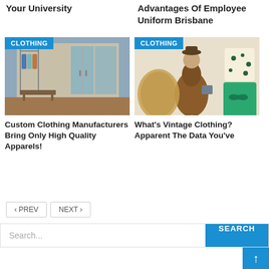Your University
Advantages Of Employee Uniform Brisbane
[Figure (photo): Interior of a clothing store with hanging garments on racks, glass doors and display tables. CLOTHING badge overlay.]
Custom Clothing Manufacturers Bring Only High Quality Apparels!
[Figure (photo): Vintage clothing collage: woman in 1950s style brown dress, floral skirt, cream floral top, green dress. CLOTHING badge overlay.]
What's Vintage Clothing? Apparent The Data You've
< PREV   NEXT >
Search...
SEARCH